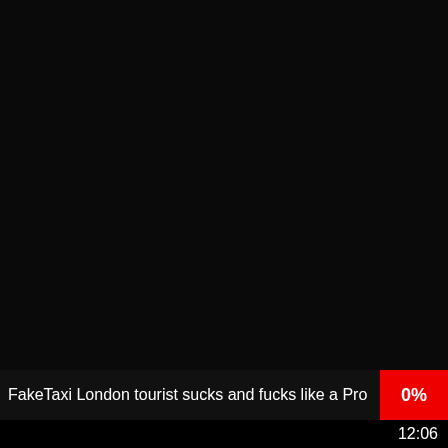[Figure (screenshot): Black video thumbnail area (top)]
FakeTaxi London tourist sucks and fucks like a Pro
0%
[Figure (screenshot): Black video thumbnail area (bottom)]
12:06